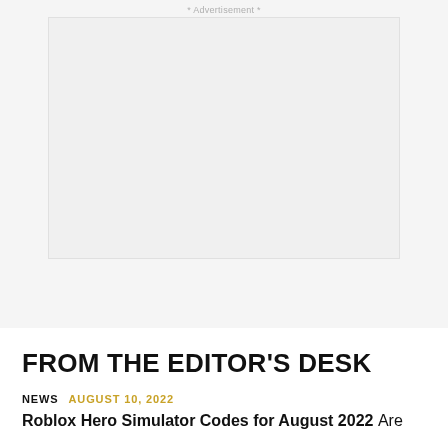* Advertisement *
[Figure (other): Advertisement placeholder box, light grey background]
FROM THE EDITOR'S DESK
NEWS  AUGUST 10, 2022
Roblox Hero Simulator Codes for August 2022  Are